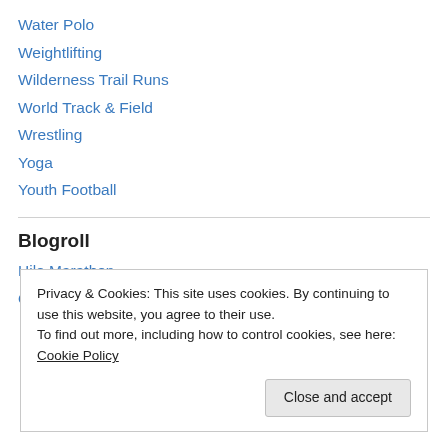Water Polo
Weightlifting
Wilderness Trail Runs
World Track & Field
Wrestling
Yoga
Youth Football
Blogroll
Hilo Marathon
Privacy & Cookies: This site uses cookies. By continuing to use this website, you agree to their use.
To find out more, including how to control cookies, see here: Cookie Policy
October 2012 (33)